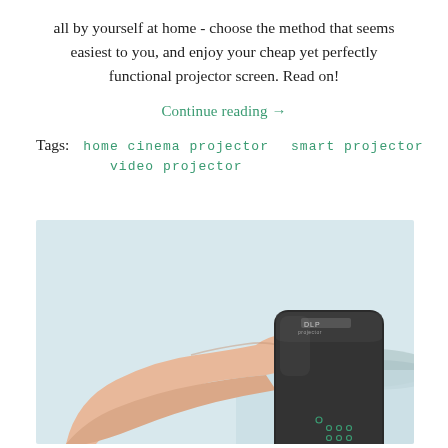all by yourself at home - choose the method that seems easiest to you, and enjoy your cheap yet perfectly functional projector screen. Read on!
Continue reading →
Tags:  home cinema projector    smart projector    video projector
[Figure (photo): A hand holding a small black smart projector device against a light blue-grey outdoor background with a distant landscape.]